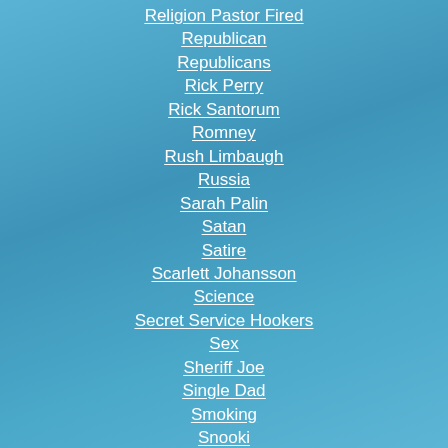Religion Pastor Fired
Republican
Republicans
Rick Perry
Rick Santorum
Romney
Rush Limbaugh
Russia
Sarah Palin
Satan
Satire
Scarlett Johansson
Science
Secret Service Hookers
Sex
Sheriff Joe
Single Dad
Smoking
Snooki
Space
Spam
Standard Page 356233748 |